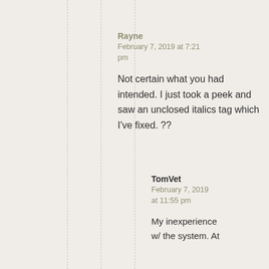Rayne
February 7, 2019 at 7:21 pm
Not certain what you had intended. I just took a peek and saw an unclosed italics tag which I've fixed. ??
TomVet
February 7, 2019 at 11:55 pm
My inexperience w/ the system. At